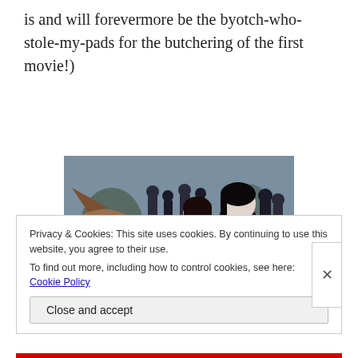is and will forevermore be the byotch-who-stole-my-pads for the butchering of the first movie!)
[Figure (photo): Movie still showing a large brown wolf in the foreground, a young woman with dark hair, a pale dark-haired man in dark clothing, and several other people standing in a snowy outdoor setting.]
Privacy & Cookies: This site uses cookies. By continuing to use this website, you agree to their use.
To find out more, including how to control cookies, see here: Cookie Policy
Close and accept